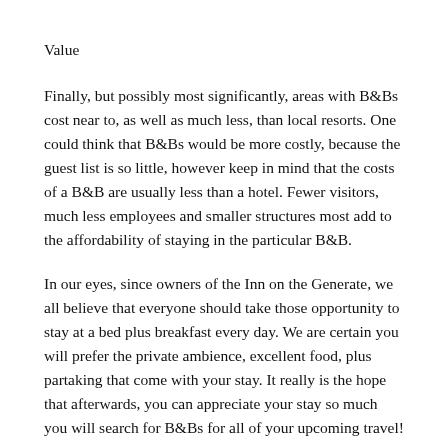Value
Finally, but possibly most significantly, areas with B&Bs cost near to, as well as much less, than local resorts. One could think that B&Bs would be more costly, because the guest list is so little, however keep in mind that the costs of a B&B are usually less than a hotel. Fewer visitors, much less employees and smaller structures most add to the affordability of staying in the particular B&B.
In our eyes, since owners of the Inn on the Generate, we all believe that everyone should take those opportunity to stay at a bed plus breakfast every day. We are certain you will prefer the private ambience, excellent food, plus partaking that come with your stay. It really is the hope that afterwards, you can appreciate your stay so much you will search for B&Bs for all of your upcoming travel!